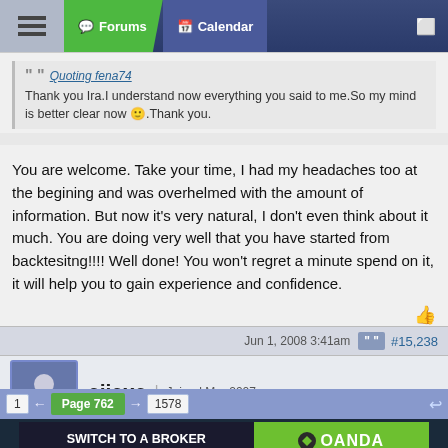Forums | Calendar
Quoting fena74
Thank you Ira.I understand now everything you said to me.So my mind is better clear now 🙂.Thank you.
You are welcome. Take your time, I had my headaches too at the begining and was overhelmed with the amount of information. But now it's very natural, I don't even think about it much. You are doing very well that you have started from backtesitng!!!! Well done! You won't regret a minute spend on it, it will help you to gain experience and confidence.
Jun 1, 2008 3:41am  #15,238
ejiexe | Joined Mar 2007
Quoting fena74
1  ←  Page 762  →  1578
[Figure (other): OANDA advertisement: SWITCH TO A BROKER WITH INTEGRITY - TRADE NOW]